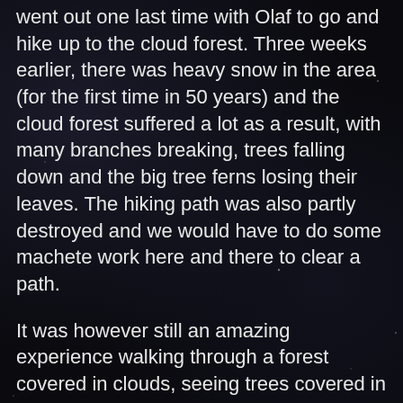went out one last time with Olaf to go and hike up to the cloud forest. Three weeks earlier, there was heavy snow in the area (for the first time in 50 years) and the cloud forest suffered a lot as a result, with many branches breaking, trees falling down and the big tree ferns losing their leaves. The hiking path was also partly destroyed and we would have to do some machete work here and there to clear a path.
It was however still an amazing experience walking through a forest covered in clouds, seeing trees covered in ferns, moss and lycans and smelling the mist in the air.
We can definitely recomend RoadRunners to